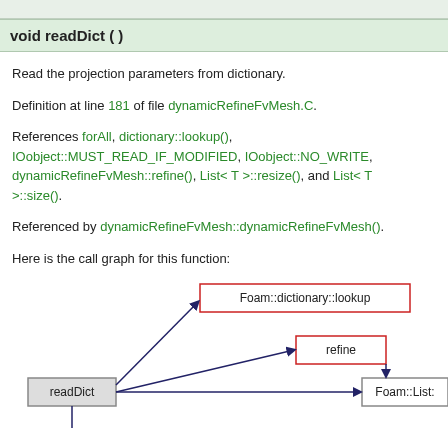void readDict ( )
Read the projection parameters from dictionary.
Definition at line 181 of file dynamicRefineFvMesh.C.
References forAll, dictionary::lookup(), IOobject::MUST_READ_IF_MODIFIED, IOobject::NO_WRITE, dynamicRefineFvMesh::refine(), List< T >::resize(), and List< T >::size().
Referenced by dynamicRefineFvMesh::dynamicRefineFvMesh().
Here is the call graph for this function:
[Figure (flowchart): Call graph showing readDict calling Foam::dictionary::lookup and refine, with readDict and refine connecting to Foam::List::]